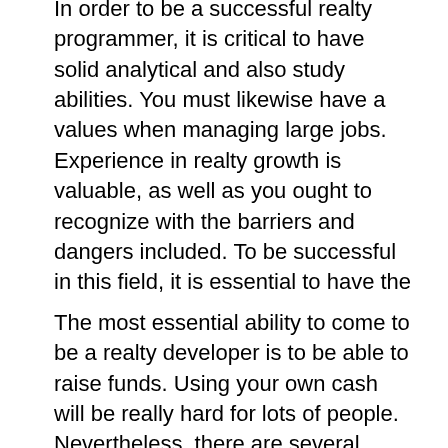In order to be a successful realty programmer, it is critical to have solid analytical and also study abilities. You must likewise have a values when managing large jobs. Experience in realty growth is valuable, as well as you ought to recognize with the barriers and dangers included. To be successful in this field, it is essential to have the best capability as well as the best history. For example, you must be educated in funding gains tax obligation techniques, in addition to in property advancement.
The most essential ability to come to be a realty developer is to be able to raise funds. Using your own cash will be really hard for lots of people. Nevertheless, there are several resources that will